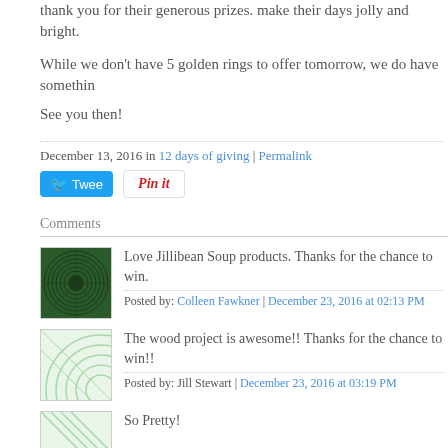thank you for their generous prizes. make their days jolly and bright.
While we don't have 5 golden rings to offer tomorrow, we do have somethin
See you then!
December 13, 2016 in 12 days of giving | Permalink
[Figure (other): Tweet button and Pin it button]
Comments
Love Jillibean Soup products. Thanks for the chance to win.
Posted by: Colleen Fawkner | December 23, 2016 at 02:13 PM
The wood project is awesome!! Thanks for the chance to win!!
Posted by: Jill Stewart | December 23, 2016 at 03:19 PM
So Pretty!